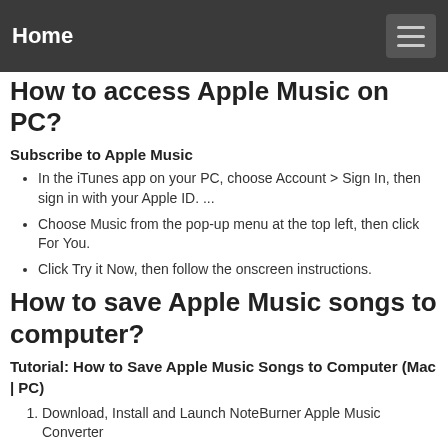Home
How to access Apple Music on PC?
Subscribe to Apple Music
In the iTunes app on your PC, choose Account > Sign In, then sign in with your Apple ID. ...
Choose Music from the pop-up menu at the top left, then click For You.
Click Try it Now, then follow the onscreen instructions.
How to save Apple Music songs to computer?
Tutorial: How to Save Apple Music Songs to Computer (Mac | PC)
Download, Install and Launch NoteBurner Apple Music Converter